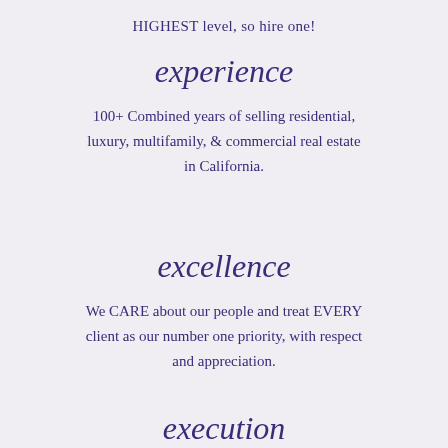HIGHEST level, so hire one!
experience
100+ Combined years of selling residential, luxury, multifamily, & commercial real estate in California.
excellence
We CARE about our people and treat EVERY client as our number one priority, with respect and appreciation.
execution